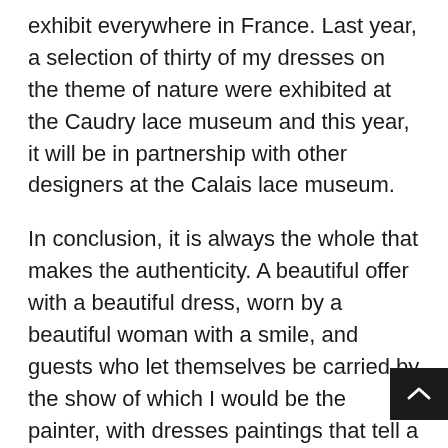exhibit everywhere in France. Last year, a selection of thirty of my dresses on the theme of nature were exhibited at the Caudry lace museum and this year, it will be in partnership with other designers at the Calais lace museum.
In conclusion, it is always the whole that makes the authenticity. A beautiful offer with a beautiful dress, worn by a beautiful woman with a smile, and guests who let themselves be carried by the show of which I would be the painter, with dresses paintings that tell a story. This profession is really my tree where I shelter, my outlet. There is no better anchor!"